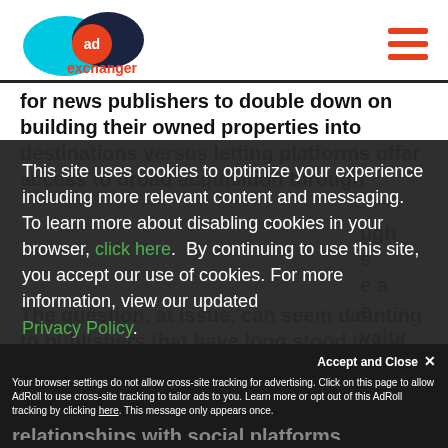AdExchanger logo and navigation
for news publishers to double down on building their owned properties into destinations versus letting platforms offer access to broad acquisition through algorithmic feeds. Simply put, publishers have a tremendous opportunity to create value and build loyalty
This site uses cookies to optimize your experience including more relevant content and messaging. To learn more about disabling cookies in your browser, click here. By continuing to use this site, you accept our use of cookies. For more information, view our updated Privacy Policy.
The question, at issue, can seem daunting to publishers that have long stood in the sway of a
Accept and Close ✕
Your browser settings do not allow cross-site tracking for advertising. Click on this page to allow AdRoll to use cross-site tracking to tailor ads to you. Learn more or opt out of this AdRoll tracking by clicking here. This message only appears once.
relationships with social platforms